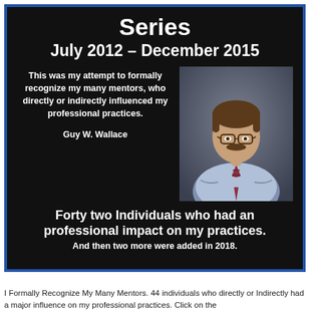Series
July 2012 – December 2015
This was my attempt to formally recognize my many mentors, who directly or indirectly influenced my professional practices.
Guy W. Wallace
[Figure (photo): Professional headshot of Guy W. Wallace, a middle-aged man with glasses, mustache, wearing a light blue shirt and striped tie, arms crossed]
Forty two Individuals who had an professional impact on my practices.
And then two more were added in 2018.
I Formally Recognize My Many Mentors. 44 individuals who directly or Indirectly had a major influence on my professional practices. Click on the